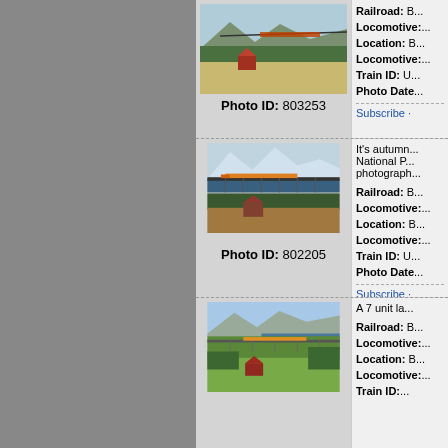[Figure (photo): Train on a trestle bridge in mountain landscape, summer green]
Photo ID: 803253
Railroad: B... Locomotive:... Location: B... Locomotive:... Train ID: U... Photo Date:... Subscribe ·
[Figure (photo): Train on trestle bridge, autumn/winter, snow-capped mountains and lake]
Photo ID: 802205
It's autumn... National P... photograph... Railroad: B... Locomotive:... Location: B... Locomotive:... Train ID: U... Photo Date:... Subscribe ·
[Figure (photo): Train on trestle bridge, summer green valley and mountains]
A 7 unit la... Railroad: B... Locomotive:... Location: B... Locomotive:... Train ID: